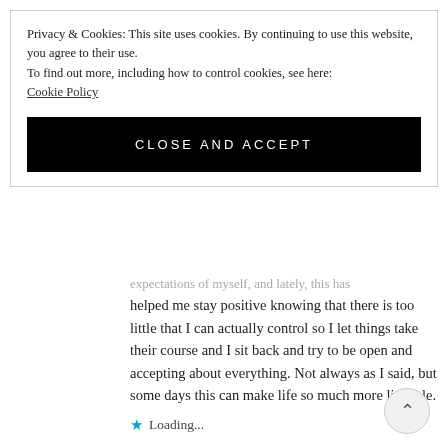Privacy & Cookies: This site uses cookies. By continuing to use this website, you agree to their use.
To find out more, including how to control cookies, see here:
Cookie Policy
CLOSE AND ACCEPT
expectations of myself, and lately, this has helped me stay positive knowing that there is too little that I can actually control so I let things take their course and I sit back and try to be open and accepting about everything. Not always as I said, but some days this can make life so much more liveable.
Loading...